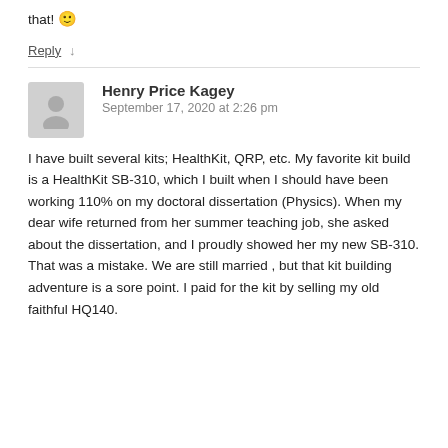that! 🙂
Reply ↓
Henry Price Kagey
September 17, 2020 at 2:26 pm
I have built several kits; HealthKit, QRP, etc. My favorite kit build is a HealthKit SB-310, which I built when I should have been working 110% on my doctoral dissertation (Physics). When my dear wife returned from her summer teaching job, she asked about the dissertation, and I proudly showed her my new SB-310. That was a mistake. We are still married , but that kit building adventure is a sore point. I paid for the kit by selling my old faithful HQ140.